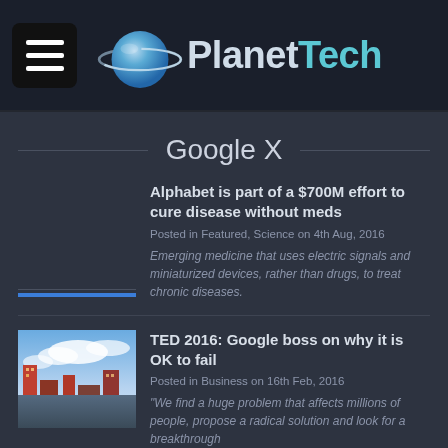PlanetTech
Google X
Alphabet is part of a $700M effort to cure disease without meds
Posted in Featured, Science on 4th Aug, 2016
Emerging medicine that uses electric signals and miniaturized devices, rather than drugs, to treat chronic diseases.
TED 2016: Google boss on why it is OK to fail
Posted in Business on 16th Feb, 2016
"We find a huge problem that affects millions of people, propose a radical solution and look for a breakthrough